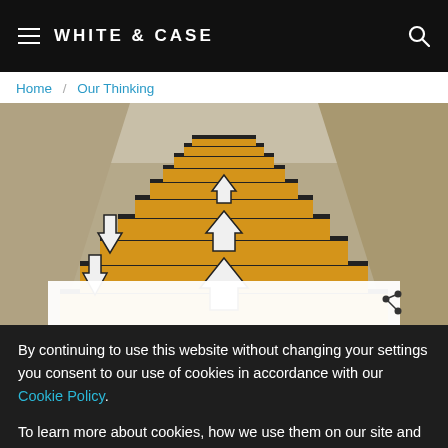WHITE & CASE
Home / Our Thinking
[Figure (photo): Staircase with yellow steps painted with upward and downward pointing arrows, viewed from below at a perspective angle.]
By continuing to use this website without changing your settings you consent to our use of cookies in accordance with our Cookie Policy.
To learn more about cookies, how we use them on our site and how to change your cookie settings please view our Cookie Policy.